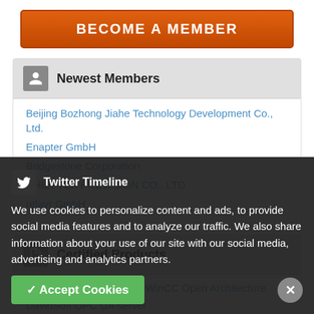BECOME A MEMBER
Newest Members
Beijing Bozhong Jiahe Technology Development Co., Ltd.
Enapter GmbH
Bridgestone Corporation
CHIEFTEK PRECISION CO., LTD
relayr GmbH
Certified Products
SCADA system SIMATIC WinCC Open Architecture
DavinSoft OPC UA server
OPC UA ClientIOdriver
We use cookies to personalize content and ads, to provide social media features and to analyze our traffic. We also share information about your use of our site with our social media, advertising and analytics partners.
Twitter Timeline
✓ Accept Cookies